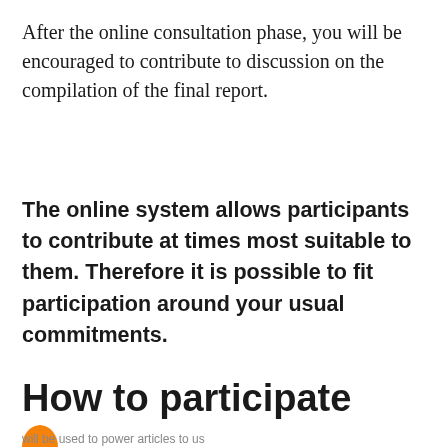After the online consultation phase, you will be encouraged to contribute to discussion on the compilation of the final report.
The online system allows participants to contribute at times most suitable to them. Therefore it is possible to fit participation around your usual commitments.
How to participate
will be used to power articles to us